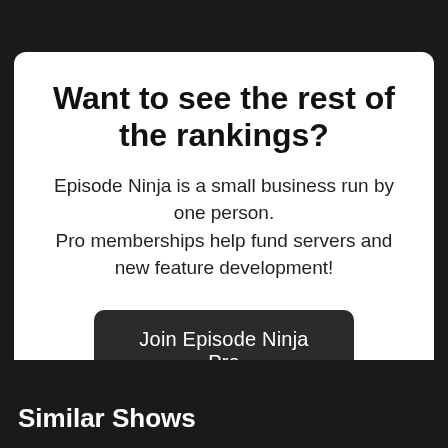Want to see the rest of the rankings?
Episode Ninja is a small business run by one person.
Pro memberships help fund servers and new feature development!
Join Episode Ninja Pro
Similar Shows